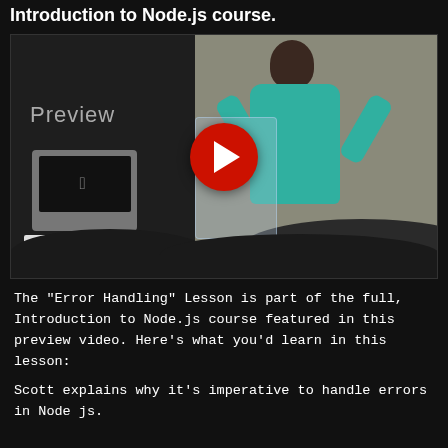Introduction to Node.js course.
[Figure (screenshot): Preview video thumbnail of a presenter in a teal hoodie speaking at a podium with a laptop. A large red play button overlays the center. The word 'Preview' appears in the dark left portion of the image.]
The "Error Handling" Lesson is part of the full, Introduction to Node.js course featured in this preview video. Here's what you'd learn in this lesson:
Scott explains why it's imperative to handle errors in Node js.